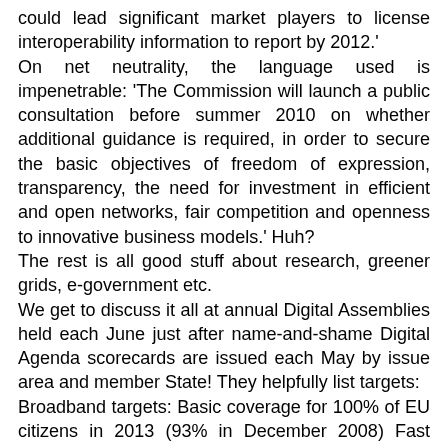could lead significant market players to license interoperability information to report by 2012.' On net neutrality, the language used is impenetrable: 'The Commission will launch a public consultation before summer 2010 on whether additional guidance is required, in order to secure the basic objectives of freedom of expression, transparency, the need for investment in efficient and open networks, fair competition and openness to innovative business models.' Huh? The rest is all good stuff about research, greener grids, e-government etc. We get to discuss it all at annual Digital Assemblies held each June just after name-and-shame Digital Agenda scorecards are issued each May by issue area and member State! They helpfully list targets: Broadband targets: Basic coverage for 100% of EU citizens in 2013 (93% in December 2008) Fast broadband 30 Mbps or more for 100% of EU citizens by 202 (Baseline: 23% of broadband subscriptions were with at least 10 Mbps in January 2010) Ultra-fast : 50% of European households should have subscriptions above 100Mbps by 2020. The latter will be 'tricky'!